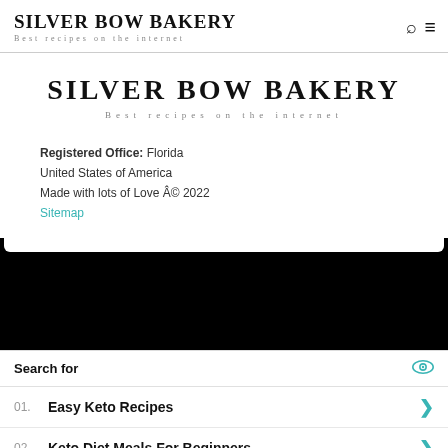SILVER BOW BAKERY
Best recipes on the internet
SILVER BOW BAKERY
Best recipes on the internet
Registered Office: Florida
United States of America
Made with lots of Love Â© 2022
Sitemap
[Figure (other): Black redacted/advertisement block]
Search for
01. Easy Keto Recipes
02. Keto Diet Meals For Beginners
Yahoo! Search | Sponsored